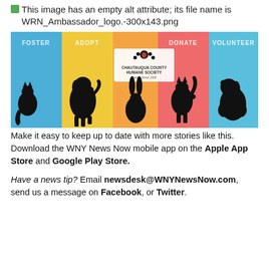This image has an empty alt attribute; its file name is WRN_Ambassador_logo.-300x143.png
[Figure (illustration): Chautauqua County Humane Society banner with colorful sections (blue, yellow, orange, pink, light blue) showing silhouettes of animals (cat, dog, rabbit, cat, dog) with labels FOSTER, ADOPT, DONATE, VOLUNTEER and the organization logo with paw print]
Make it easy to keep up to date with more stories like this. Download the WNY News Now mobile app on the Apple App Store and Google Play Store.
Have a news tip? Email newsdesk@WNYNewsNow.com, send us a message on Facebook, or Twitter.